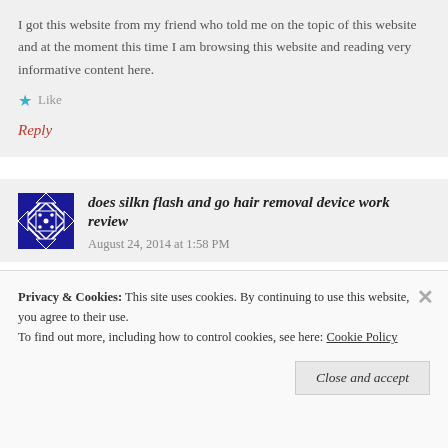I got this website from my friend who told me on the topic of this website and at the moment this time I am browsing this website and reading very informative content here.
★ Like
Reply
does silkn flash and go hair removal device work review   August 24, 2014 at 1:58 PM
Privacy & Cookies: This site uses cookies. By continuing to use this website, you agree to their use. To find out more, including how to control cookies, see here: Cookie Policy
Close and accept